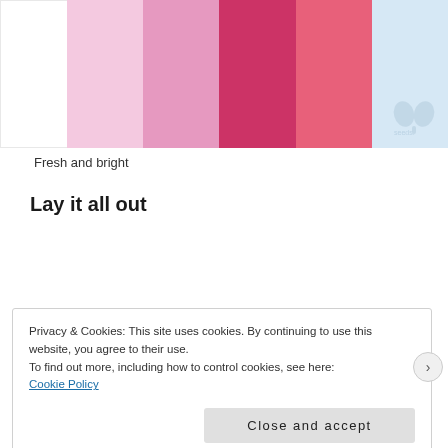[Figure (illustration): Color palette swatches: white/empty panel on left, then light pink, medium pink, deep rose/red, warm pink, and light blue with a faint seeds logo watermark]
Fresh and bright
Lay it all out
[Figure (other): Dark red horizontal advertisement bar line with 'REPORT THIS AD' text to the right]
Privacy & Cookies: This site uses cookies. By continuing to use this website, you agree to their use.
To find out more, including how to control cookies, see here:
Cookie Policy
Close and accept